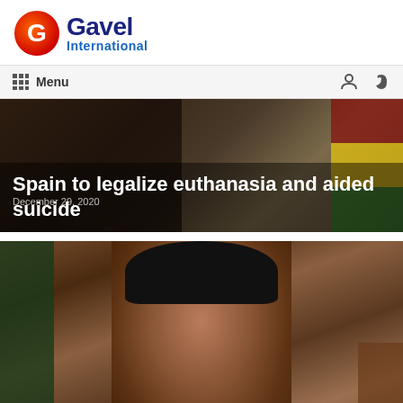[Figure (logo): Gavel International logo with red and orange circular G icon and blue text]
Menu | December 29, 2020
[Figure (photo): News article image with headline overlay: Spain to legalize euthanasia and aided suicide]
Spain to legalize euthanasia and aided suicide
[Figure (photo): Portrait photo of a Black man wearing a black kufi cap, in formal attire, looking serious]